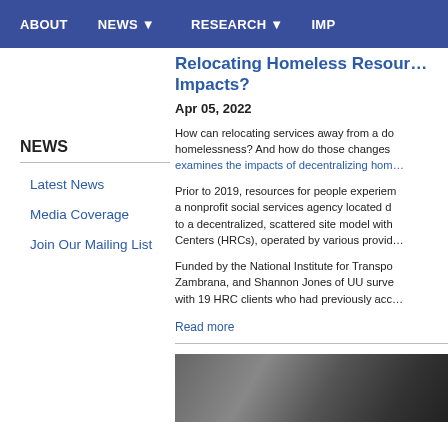ABOUT   NEWS ▼   RESEARCH ▼   IMP
Relocating Homeless Resources: Impacts?
Apr 05, 2022
How can relocating services away from a downtown area affect homelessness? And how do those changes examines the impacts of decentralizing hom...
Prior to 2019, resources for people experiencing homelessness were a nonprofit social services agency located downtown. In 2019, the model shifted to a decentralized, scattered site model with Homeless Resource Centers (HRCs), operated by various providers.
Funded by the National Institute for Transportation. Zambrana, and Shannon Jones of UU surveyed with 19 HRC clients who had previously accessed...
Read more
NEWS
Latest News
Media Coverage
Join Our Mailing List
[Figure (photo): Dark photo, partially visible, appears to be a building or indoor scene]